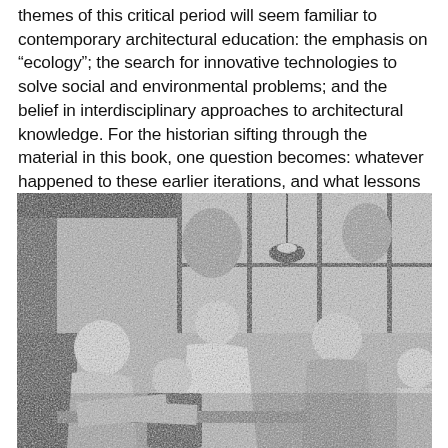themes of this critical period will seem familiar to contemporary architectural education: the emphasis on “ecology”; the search for innovative technologies to solve social and environmental problems; and the belief in interdisciplinary approaches to architectural knowledge. For the historian sifting through the material in this book, one question becomes: whatever happened to these earlier iterations, and what lessons have been forgotten?
[Figure (photo): Black and white photograph of several students (men and a woman) gathered around a desk or drafting table in what appears to be an architectural studio with large windows. They are looking at work on the table. A lamp hangs from above.]